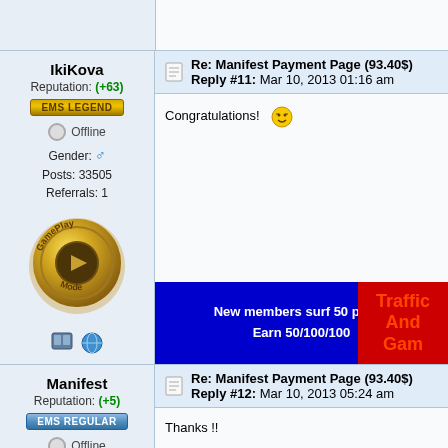IkiKova
Reputation: (+63)
EMS LEGEND
Offline
Gender: ♂ Posts: 33505 Referrals: 1
[Figure (illustration): Gold coin medal with 'GamePlay Mode' text and play button icon]
Re: Manifest Payment Page (93.40$) Reply #11: Mar 10, 2013 01:16 am
Congratulations!
[Figure (infographic): Blue and red banner: New members surf 50 pages Earn 50/100/100 | Traffic And Gam...]
Manifest
Reputation: (+5)
EMS REGULAR
Offline
Posts: 754 Referrals: 0
Re: Manifest Payment Page (93.40$) Reply #12: Mar 10, 2013 05:24 am
Thanks !!